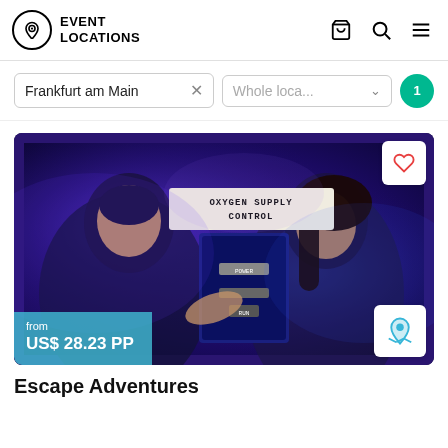EVENT LOCATIONS
Frankfurt am Main
Whole loca...
[Figure (photo): Two people in a blue-lit escape room setting, looking at a control panel labeled 'OXYGEN SUPPLY CONTROL'. Price badge shows 'from US$ 28.23 PP'.]
Escape Adventures